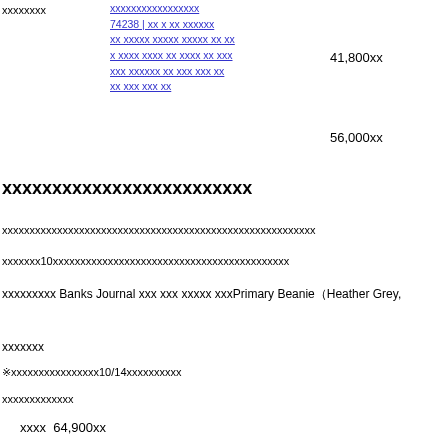xxxxxxxx
xxxxxxxxxxxxxxxxx 74238 | xx x xx xxxxxx xx xxxxx xxxxx xxxxx xx xx x xxxx xxxx xx xxxx xx xxx xxx xxxxxx xx xxx xxx xx xx xxx xxx xx
41,800xx
56,000xx
xxxxxxxxxxxxxxxxxxxxxxxxx
xxxxxxxxxxxxxxxxxxxxxxxxxxxxxxxxxxxxxxxxxxxxxxxxxxxxxxxxx
xxxxxxx10xxxxxxxxxxxxxxxxxxxxxxxxxxxxxxxxxxxxxxxxxxx
xxxxxxxxx Banks Journal xxx xxx xxxxx xxxPrimary BeanieHeather Grey,
xxxxxxx
※xxxxxxxxxxxxxxxx10/14xxxxxxxxxx
xxxxxxxxxxxxx
xxxx  64,900xx